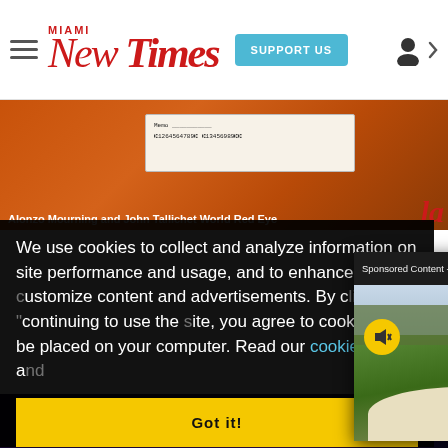Miami New Times — SUPPORT US
[Figure (photo): Partial photo of a check with routing and account numbers visible, against a warm orange/red background]
Alonzo Mourning and John Tallichet World Red Eye
la
We use cookies to collect and analyze information on site performance and usage, and to enhance and advertisements. By c continuing to use the cookies to be placed our cookies policy a
[Figure (screenshot): Sponsored Content video popup titled 'Best bunker hole-...' showing a golfer in a sand trap on a golf course, with a mute button and close (X) button]
Got it!
[Figure (photo): Partial bottom image strip showing purple/dark nightlife scene]